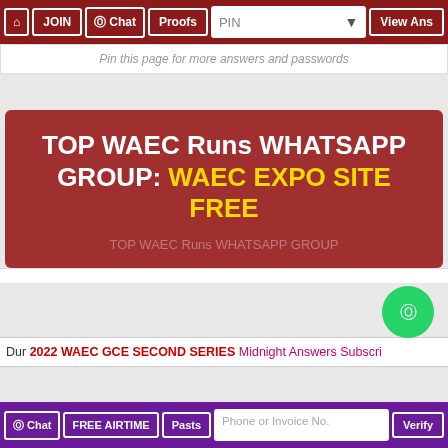HOME | JOIN | Chat | Proofs | PIN | View Ans
Pin this page for more answers and passwords
TOP WAEC Runs WHATSAPP GROUP: WAEC EXPO SITE FREE
TOP WAEC Runs WHATSAPP GROUP
Our 2022 WAEC GCE SECOND SERIES Midnight Answers Subscri
Chat | FREE AIRTIME | Pasts | Phone or Invoice No. | Verify